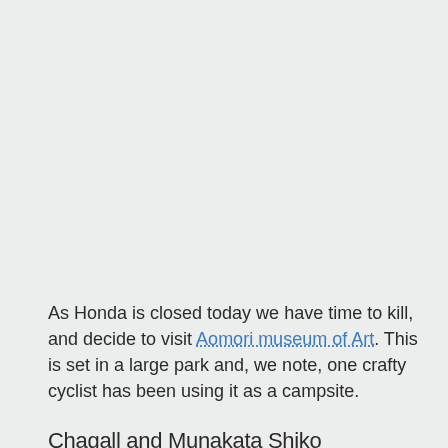As Honda is closed today we have time to kill, and decide to visit Aomori museum of Art. This is set in a large park and, we note, one crafty cyclist has been using it as a campsite.
Chagall and Munakata Shiko